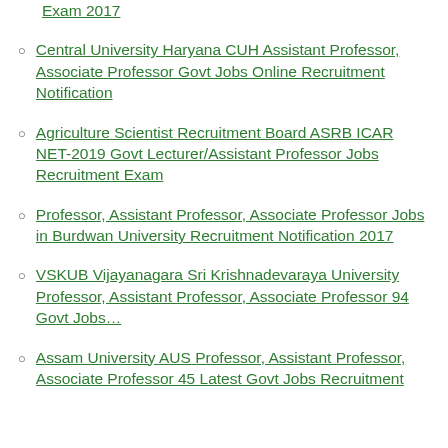Exam 2017
Central University Haryana CUH Assistant Professor, Associate Professor Govt Jobs Online Recruitment Notification
Agriculture Scientist Recruitment Board ASRB ICAR NET-2019 Govt Lecturer/Assistant Professor Jobs Recruitment Exam
Professor, Assistant Professor, Associate Professor Jobs in Burdwan University Recruitment Notification 2017
VSKUB Vijayanagara Sri Krishnadevaraya University Professor, Assistant Professor, Associate Professor 94 Govt Jobs…
Assam University AUS Professor, Assistant Professor, Associate Professor 45 Latest Govt Jobs Recruitment